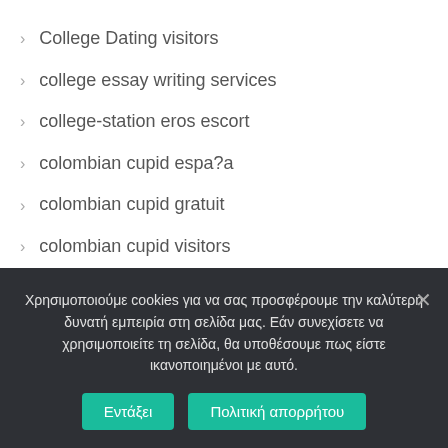College Dating visitors
college essay writing services
college-station eros escort
colombian cupid espa?a
colombian cupid gratuit
colombian cupid visitors
colombian mail order wives
colombiancupid cs review
colombiancupid dating
Χρησιμοποιούμε cookies για να σας προσφέρουμε την καλύτερη δυνατή εμπειρία στη σελίδα μας. Εάν συνεχίσετε να χρησιμοποιείτε τη σελίδα, θα υποθέσουμε πως είστε ικανοποιημένοι με αυτό.
Εντάξει
Πολιτική απορρήτου